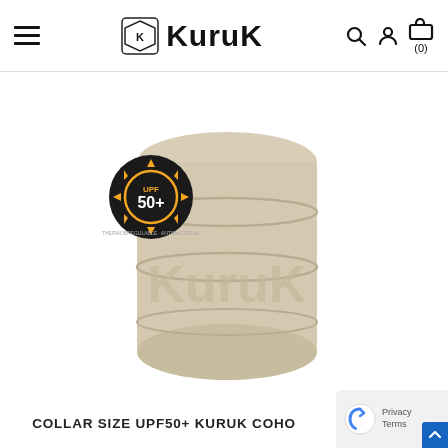KURUK — Navigation header with hamburger menu, logo, search, account, and cart icons
[Figure (photo): A beige/tan neck gaiter/collar tube scarf with KURUK logo text, rolled into a cylinder shape. A circular UPF 50+ badge is overlaid on the upper-left of the product. The badge reads 'UPF 50+' in bold text with a sun gear graphic on a dark background.]
COLLAR SIZE UPF50+ KURUK COHO
[Figure (other): Privacy notice reCAPTCHA badge in bottom-right corner with scroll-to-top arrow button]